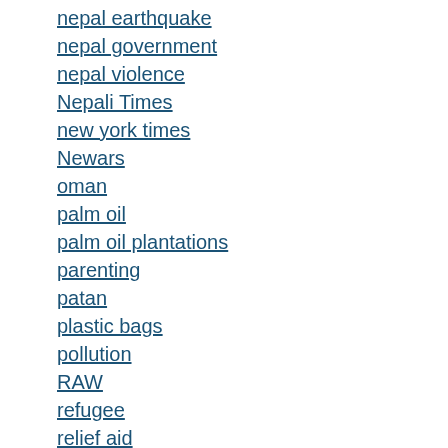nepal earthquake
nepal government
nepal violence
Nepali Times
new york times
Newars
oman
palm oil
palm oil plantations
parenting
patan
plastic bags
pollution
RAW
refugee
relief aid
religion
religious festival
river pollution